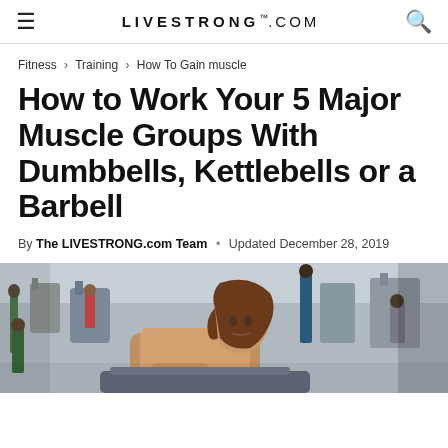LIVESTRONG.COM
Fitness › Training › How To Gain muscle
How to Work Your 5 Major Muscle Groups With Dumbbells, Kettlebells or a Barbell
By The LIVESTRONG.com Team • Updated December 28, 2019
[Figure (photo): People working out in a gym; a woman in foreground leaning on equipment with other gym-goers and cardio machines visible in background]